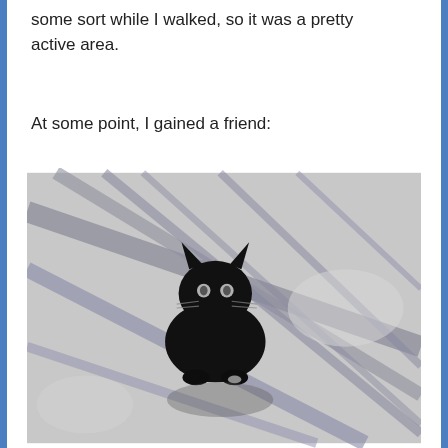some sort while I walked, so it was a pretty active area.
At some point, I gained a friend:
[Figure (photo): A black cat sitting on a light grey pavement with diagonal tree branch shadows cast across the ground. The cat is facing the camera with slightly glowing eyes.]